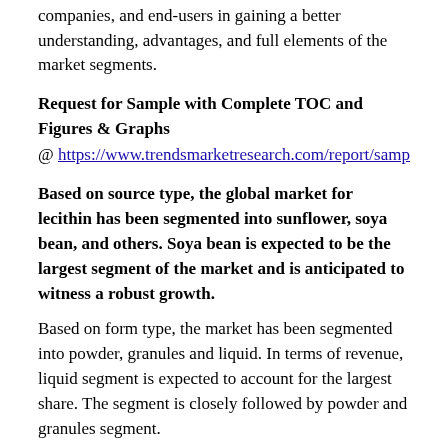companies, and end-users in gaining a better understanding, advantages, and full elements of the market segments.
Request for Sample with Complete TOC and Figures & Graphs
@ https://www.trendsmarketresearch.com/report/samp
Based on source type, the global market for lecithin has been segmented into sunflower, soya bean, and others. Soya bean is expected to be the largest segment of the market and is anticipated to witness a robust growth.
Based on form type, the market has been segmented into powder, granules and liquid. In terms of revenue, liquid segment is expected to account for the largest share. The segment is closely followed by powder and granules segment.